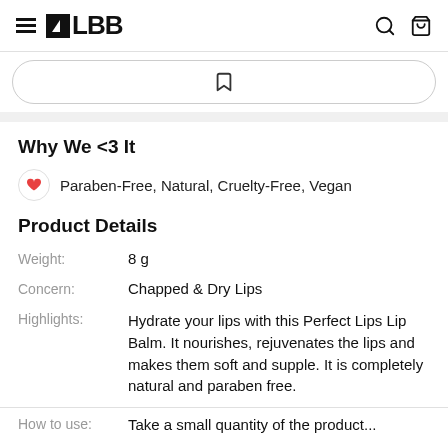LBB
Why We <3 It
Paraben-Free, Natural, Cruelty-Free, Vegan
Product Details
| Field | Value |
| --- | --- |
| Weight: | 8 g |
| Concern: | Chapped & Dry Lips |
| Highlights: | Hydrate your lips with this Perfect Lips Lip Balm. It nourishes, rejuvenates the lips and makes them soft and supple. It is completely natural and paraben free. |
Take a small quantity of the product...